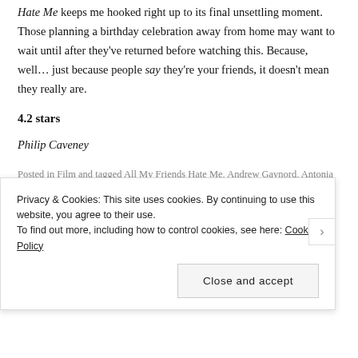Hate Me keeps me hooked right up to its final unsettling moment. Those planning a birthday celebration away from home may want to wait until after they've returned before watching this. Because, well… just because people say they're your friends, it doesn't mean they really are.
4.2 stars
Philip Caveney
Posted in Film and tagged All My Friends Hate Me, Andrew Gaynord, Antonia Clarke, Charlie Clive, Christopher Fairbank, Dustin Demri-Burns, Joshua McGuire, The Cameo Cinema, Tom Palmer, Tom Stourton on June 10, 2022. 1 Comment
Privacy & Cookies: This site uses cookies. By continuing to use this website, you agree to their use. To find out more, including how to control cookies, see here: Cookie Policy
Close and accept